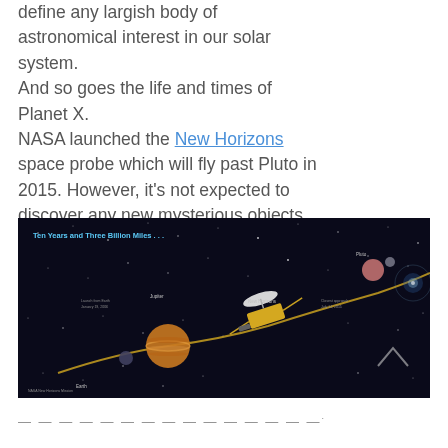define any largish body of astronomical interest in our solar system.
And so goes the life and times of Planet X.
NASA launched the New Horizons space probe which will fly past Pluto in 2015. However, it's not expected to discover any new mysterious objects.
[Figure (infographic): NASA New Horizons space probe infographic titled 'Ten Years and Three Billion Miles...' showing the spacecraft's trajectory past Jupiter and toward Pluto against a dark starfield background, with annotations and labels.]
— — — — — — — — — — — — — — —